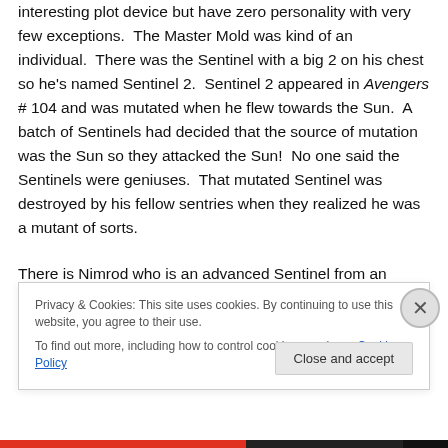interesting plot device but have zero personality with very few exceptions.  The Master Mold was kind of an individual.  There was the Sentinel with a big 2 on his chest so he's named Sentinel 2.  Sentinel 2 appeared in Avengers # 104 and was mutated when he flew towards the Sun.  A batch of Sentinels had decided that the source of mutation was the Sun so they attacked the Sun!  No one said the Sentinels were geniuses.  That mutated Sentinel was destroyed by his fellow sentries when they realized he was a mutant of sorts.
There is Nimrod who is an advanced Sentinel from an
[Figure (screenshot): Cookie consent banner with text 'Privacy & Cookies: This site uses cookies. By continuing to use this website, you agree to their use. To find out more, including how to control cookies, see here: Cookie Policy' and a 'Close and accept' button. An X close button appears to the right.]
[Figure (infographic): Progress bar at bottom of page with red, dark gray, and black sections.]